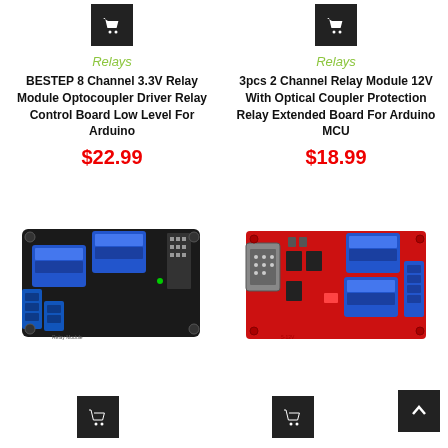[Figure (photo): Cart button icon top left]
[Figure (photo): Cart button icon top right]
Relays
Relays
BESTEP 8 Channel 3.3V Relay Module Optocoupler Driver Relay Control Board Low Level For Arduino
3pcs 2 Channel Relay Module 12V With Optical Coupler Protection Relay Extended Board For Arduino MCU
$22.99
$18.99
[Figure (photo): 2-channel relay module on black PCB with blue relays]
[Figure (photo): 2-channel relay module on red PCB with blue relays and DB9 connector]
[Figure (photo): Cart button icon bottom left]
[Figure (photo): Cart button icon bottom right]
[Figure (other): Back to top arrow button]